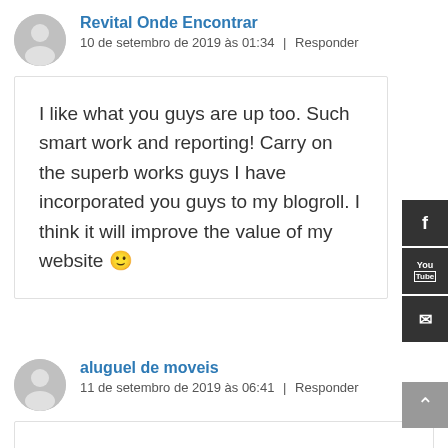Revital Onde Encontrar
10 de setembro de 2019 às 01:34 | Responder
I like what you guys are up too. Such smart work and reporting! Carry on the superb works guys I have incorporated you guys to my blogroll. I think it will improve the value of my website 🙂
aluguel de moveis
11 de setembro de 2019 às 06:41 | Responder